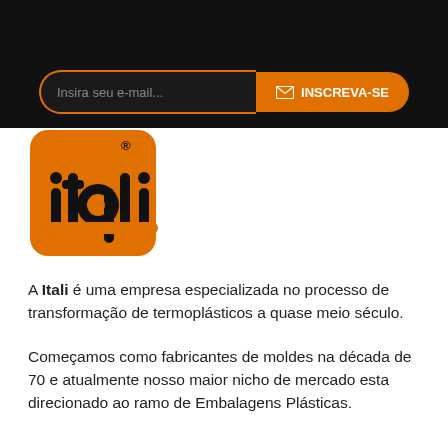[Figure (screenshot): Dark banner with email subscription input and orange INSCREVA-SE button]
[Figure (logo): Itali company logo - orange rounded square with black 'itali' text and registered trademark symbol]
A Itali é uma empresa especializada no processo de transformação de termoplásticos a quase meio século.
Começamos como fabricantes de moldes na década de 70 e atualmente nosso maior nicho de mercado esta direcionado ao ramo de Embalagens Plásticas.